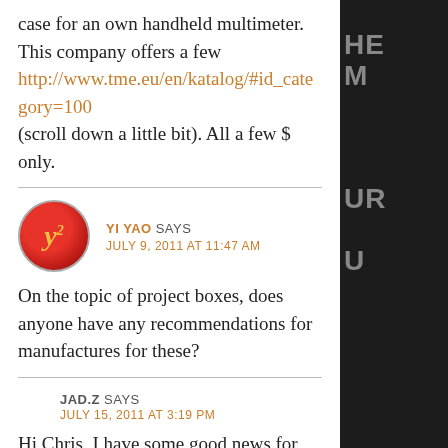case for an own handheld multimeter. This company offers a few http://www.tme.eu/en/katalog/#id_category=100 (scroll down a little bit). All a few $ only.
YI YAO SAYS
JULY 9, 2011 AT 11:47 AM
On the topic of project boxes, does anyone have any recommendations for manufactures for these?
JAD.Z SAYS
JULY 15, 2011 AT 3:19 PM
Hi Chris, I have some good news for you. Now it is possible to print solar cells